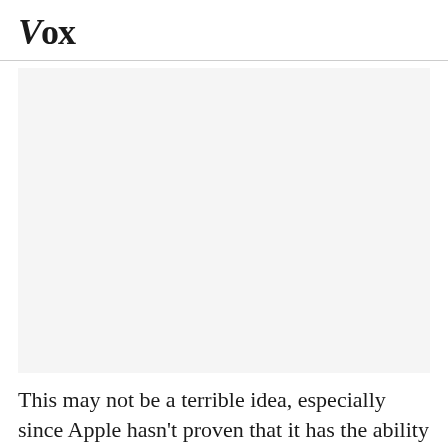Vox
[Figure (photo): Large image placeholder area, light gray background]
This may not be a terrible idea, especially since Apple hasn't proven that it has the ability to make